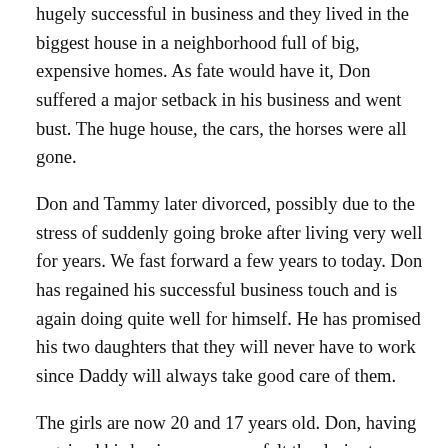hugely successful in business and they lived in the biggest house in a neighborhood full of big, expensive homes. As fate would have it, Don suffered a major setback in his business and went bust. The huge house, the cars, the horses were all gone.
Don and Tammy later divorced, possibly due to the stress of suddenly going broke after living very well for years. We fast forward a few years to today. Don has regained his successful business touch and is again doing quite well for himself. He has promised his two daughters that they will never have to work since Daddy will always take good care of them.
The girls are now 20 and 17 years old. Don, having regained his business success, felt the desire to remarry. He and a couple of good friends of his went abroad, to Thailand, in search of wives. As you might expect, Don